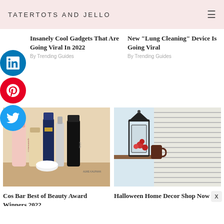TATERTOTS AND JELLO
[Figure (infographic): LinkedIn, Pinterest, and Twitter social share circular buttons stacked vertically on the left side]
Insanely Cool Gadgets That Are Going Viral In 2022
By Trending Guides
New "Lung Cleaning" Device Is Going Viral
By Trending Guides
[Figure (photo): Beauty products including shampoo bottles, serums and skincare items arranged on a counter]
[Figure (photo): Halloween home decor with a black metal lantern on a shelf next to a window with white blinds]
Cos Bar Best of Beauty Award Winners 2022
Halloween Home Decor Shop Now